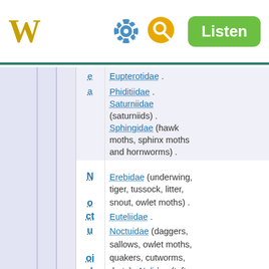W [settings] [search] Listen
e – Eupterotidae .
a – Phiditiidae . Saturniidae (saturniids) . Sphingidae (hawk moths, sphinx moths and hornworms) .
N o ct u oi d e a – Erebidae (underwing, tiger, tussock, litter, snout, owlet moths) . Euteliidae . Noctuidae (daggers, sallows, owlet moths, quakers, cutworms, darts) . Nolidae (tuft moths) . Notodontidae (prominents, kittens) .